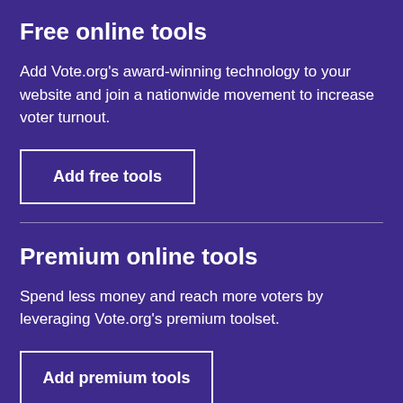Free online tools
Add Vote.org's award-winning technology to your website and join a nationwide movement to increase voter turnout.
Add free tools
Premium online tools
Spend less money and reach more voters by leveraging Vote.org's premium toolset.
Add premium tools